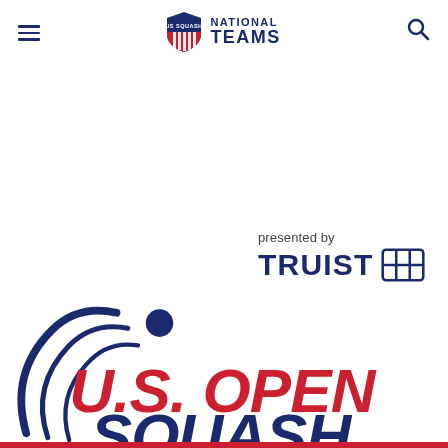US Squash National Teams — navigation header with hamburger menu and search icon
[Figure (logo): US Squash National Teams logo with shield and text 'US SQUASH NATIONAL TEAMS']
[Figure (logo): U.S. Open Squash presented by Truist logo — large event branding with squash ball/swoosh graphic, red 'U.S. OPEN' text, dark navy 'SQUASH' text, and Truist sponsor logo]